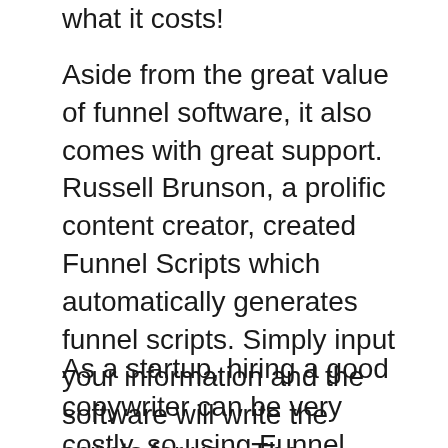what it costs!
Aside from the great value of funnel software, it also comes with great support. Russell Brunson, a prolific content creator, created Funnel Scripts which automatically generates funnel scripts. Simply input your information and the software will write the scripts for you. The software is completely free for the first seven day. You can also get unlimited updates at no additional cost. Funnel Scripts offers a high-quality, reliable funnel tool that works.
As a startup, hiring a good copywriter can be very costly, so using Funnel Scripts is a great way to save money while writing a high-quality sales letter. This tool will allow you to